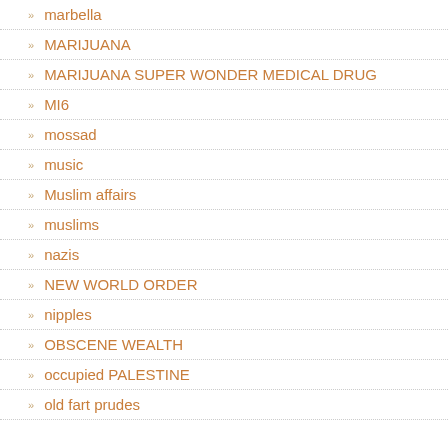marbella
MARIJUANA
MARIJUANA SUPER WONDER MEDICAL DRUG
MI6
mossad
music
Muslim affairs
muslims
nazis
NEW WORLD ORDER
nipples
OBSCENE WEALTH
occupied PALESTINE
old fart prudes